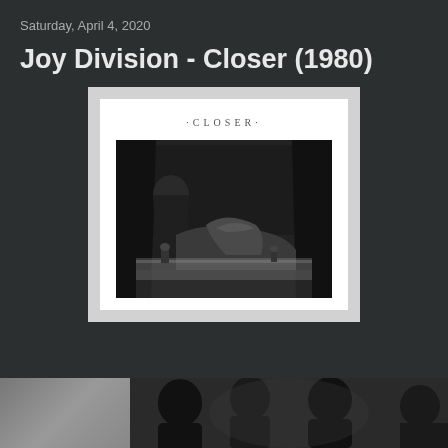Saturday, April 4, 2020
Joy Division - Closer (1980)
[Figure (photo): Album cover of Joy Division's 'Closer' (1980) showing a white background with the text '·CLOSER·' and below it a black and white photograph of a funeral scene with mourning figures draped in cloth around a tomb, with flowers visible.]
[Figure (photo): Partial view of another black and white photograph at the bottom of the page showing silhouetted figures.]